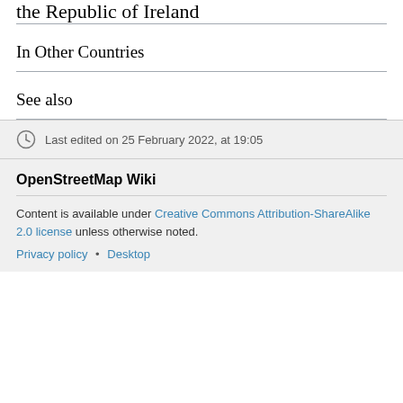the Republic of Ireland
In Other Countries
See also
Last edited on 25 February 2022, at 19:05
OpenStreetMap Wiki
Content is available under Creative Commons Attribution-ShareAlike 2.0 license unless otherwise noted.
Privacy policy • Desktop